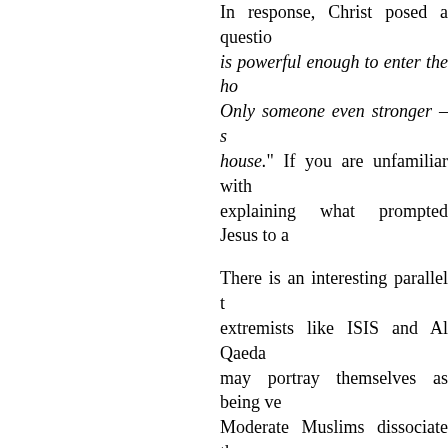In response, Christ posed a question… is powerful enough to enter the ho… Only someone even stronger – so… house." If you are unfamiliar with explaining what prompted Jesus to a
There is an interesting parallel t… extremists like ISIS and Al Qaeda … may portray themselves as being ve… Moderate Muslims dissociate them… Haroon Moghul's scathing rebuke a… published on CNN. His intense fe… when he accused the Jewish leade… (John 8:44)
Another Scripture that sheds light … assures God's people that he will… Psalmist asks God to deliver his p… listed in this Psalm are part of wha… judgement will cause them to "see… that they may know that you alone … over all the earth." (Psalm 83:16-18)
Notice a basic similarity between … which explains the outcome of God… LORD, am your Savior, your Re…